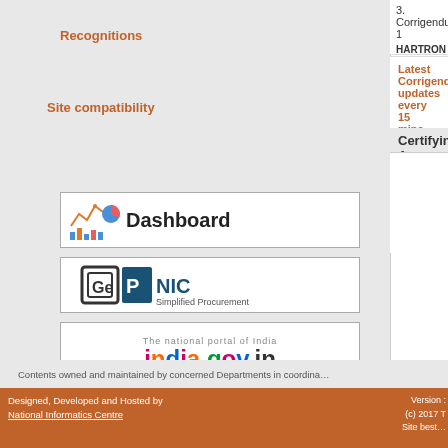Recognitions
Site compatibility
[Figure (screenshot): Dashboard logo button with chart icon and text 'Dashboard']
[Figure (logo): GePNIC - Simplified Procurement logo]
[Figure (logo): india.gov.in - The national portal of India logo]
[Figure (logo): haryana.gov.in - Haryana Government web portal logo]
[Figure (logo): Government of India - Central Public Procurement Portal logo]
| Item | Number | Name |
| --- | --- | --- |
| 3. Corrigendum 1 | 23 | HARTRON |
Latest Corrigendum updates every 15 mins.
Certifying Agency
Contents owned and maintained by concerned Departments in coordina...
Designed, Developed and Hosted by National Informatics Centre    Version : (c) 2017 T Site best...